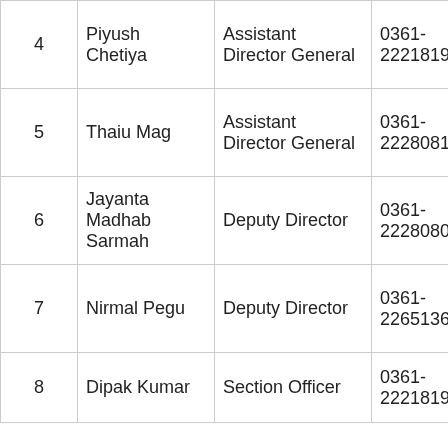| # | Name | Designation | Phone | Email |
| --- | --- | --- | --- | --- |
| 4 | Piyush Chetiya | Assistant Director General | 0361-2221819 | Piyu… |
| 5 | Thaiu Mag | Assistant Director General | 0361-2228081 | thai… |
| 6 | Jayanta Madhab Sarmah | Deputy Director | 0361-2228080 | jaya… |
| 7 | Nirmal Pegu | Deputy Director | 0361-2265136 | nirm… |
| 8 | Dipak Kumar | Section Officer | 0361-2221819 | dipa… |